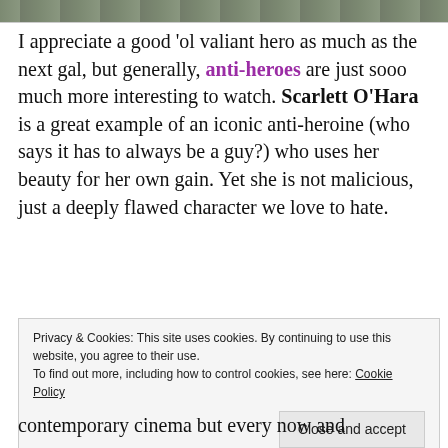[Figure (photo): Partial image strip at the top of the page showing a natural/animal scene]
I appreciate a good 'ol valiant hero as much as the next gal, but generally, anti-heroes are just sooo much more interesting to watch. Scarlett O'Hara is a great example of an iconic anti-heroine (who says it has to always be a guy?) who uses her beauty for her own gain. Yet she is not malicious, just a deeply flawed character we love to hate.
Privacy & Cookies: This site uses cookies. By continuing to use this website, you agree to their use.
To find out more, including how to control cookies, see here: Cookie Policy
contemporary cinema but every now and